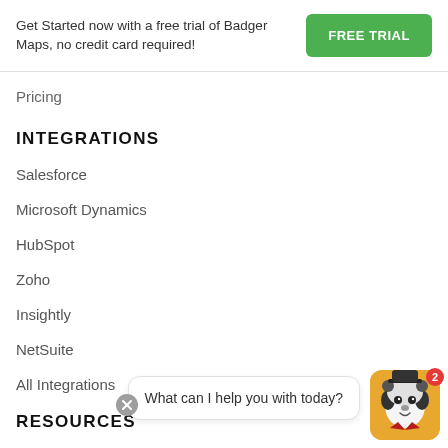Get Started now with a free trial of Badger Maps, no credit card required!
FREE TRIAL
Pricing
INTEGRATIONS
Salesforce
Microsoft Dynamics
HubSpot
Zoho
Insightly
NetSuite
All Integrations
What can I help you with today?
RESOURCES